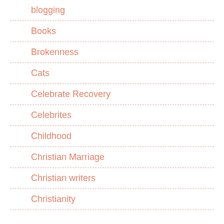blogging
Books
Brokenness
Cats
Celebrate Recovery
Celebrites
Childhood
Christian Marriage
Christian writers
Christianity